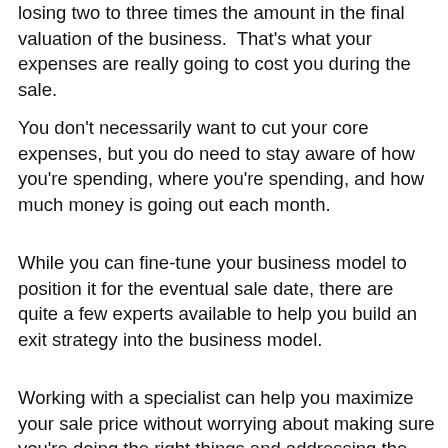losing two to three times the amount in the final valuation of the business. That's what your expenses are really going to cost you during the sale.
You don't necessarily want to cut your core expenses, but you do need to stay aware of how you're spending, where you're spending, and how much money is going out each month.
While you can fine-tune your business model to position it for the eventual sale date, there are quite a few experts available to help you build an exit strategy into the business model.
Working with a specialist can help you maximize your sale price without worrying about making sure you're doing the right things and addressing the right areas.